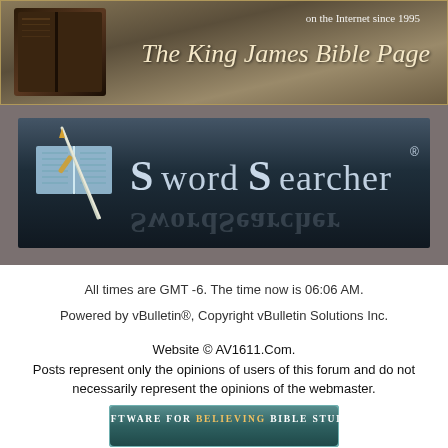[Figure (screenshot): The King James Bible Page banner with dark brown Bible book image on left and italic serif text 'on the Internet since 1995' and 'The King James Bible Page' on tan/brown background]
[Figure (logo): SwordSearcher logo banner: dark blue-grey background with light blue open book and sword icon on left, and 'SwordSearcher' text in large silver/white serif font with registered trademark symbol]
All times are GMT -6. The time now is 06:06 AM.
Powered by vBulletin®, Copyright vBulletin Solutions Inc.
Website © AV1611.Com.
Posts represent only the opinions of users of this forum and do not necessarily represent the opinions of the webmaster.
[Figure (screenshot): Teal/dark green button with text 'Software for Believing Bible Study' in uppercase serif font with gold highlighted word 'Believing']